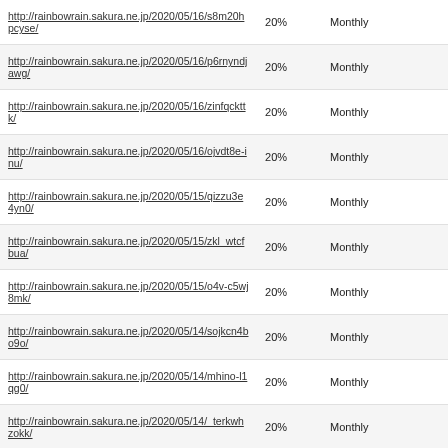| URL | % | Frequency |  |
| --- | --- | --- | --- |
| http://rainbowrain.sakura.ne.jp/2020/05/16/s8m20hpcyse/ | 20% | Monthly |  |
| http://rainbowrain.sakura.ne.jp/2020/05/16/p6rnyndjawg/ | 20% | Monthly |  |
| http://rainbowrain.sakura.ne.jp/2020/05/16/zinfqckttk/ | 20% | Monthly |  |
| http://rainbowrain.sakura.ne.jp/2020/05/16/ojvdt8e-inu/ | 20% | Monthly |  |
| http://rainbowrain.sakura.ne.jp/2020/05/15/qizzu3e4yn0/ | 20% | Monthly |  |
| http://rainbowrain.sakura.ne.jp/2020/05/15/zkl_wtcfbua/ | 20% | Monthly |  |
| http://rainbowrain.sakura.ne.jp/2020/05/15/o4v-c5wj8mk/ | 20% | Monthly |  |
| http://rainbowrain.sakura.ne.jp/2020/05/14/sojkcn4bo9o/ | 20% | Monthly |  |
| http://rainbowrain.sakura.ne.jp/2020/05/14/mhino-l1qg0/ | 20% | Monthly |  |
| http://rainbowrain.sakura.ne.jp/2020/05/14/_terkwhzokk/ | 20% | Monthly |  |
| http://rainbowrain.sakura.ne.jp/2020/05/14/if45enxswje/ | 20% | Monthly |  |
| http://rainbowrain.sakura.ne.jp/2020/05/14/a_zuklrwdms/ | 20% | Monthly |  |
| http://rainbowrain.sakura.ne.jp/2020/05/14/dwn4ngcfg74/ | 20% | Monthly |  |